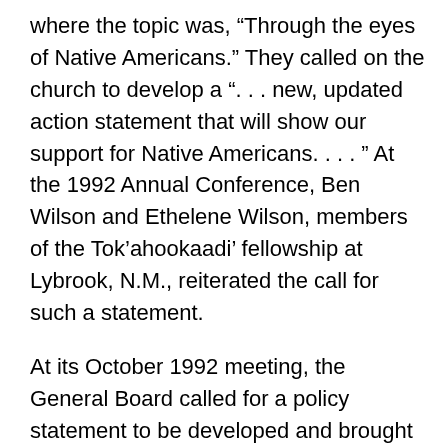where the topic was, “Through the eyes of Native Americans.” They called on the church to develop a “. . . new, updated action statement that will show our support for Native Americans. . . . ” At the 1992 Annual Conference, Ben Wilson and Ethelene Wilson, members of the Tok’ahookaadi’ fellowship at Lybrook, N.M., reiterated the call for such a statement.
At its October 1992 meeting, the General Board called for a policy statement to be developed and brought to the 1993 Annual Conference. The following committee was appointed to draft the statement: David Hendricks, Quinter, Kan., convener; Ethelene Wilson, Bloomfield, N.M.;